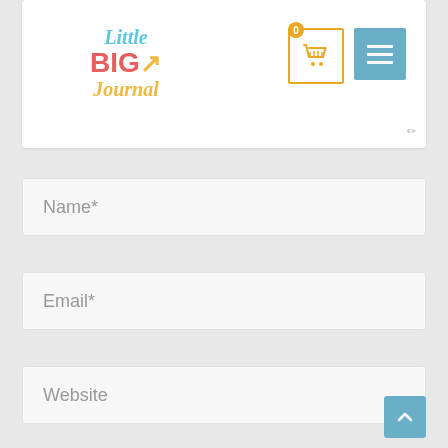[Figure (screenshot): Little BIG Journal website header with logo on left, shopping cart button with badge showing 0, and hamburger menu button on right]
Name*
Email*
Website